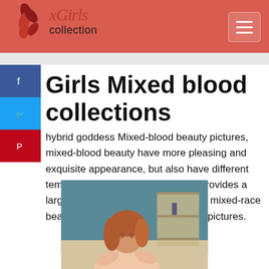xGirls collection
Girls Mixed blood collections
hybrid goddess Mixed-blood beauty pictures, mixed-blood beauty have more pleasing and exquisite appearance, but also have different temperament and charm, this site provides a large number of pictures of Chinese mixed-race beauty, Taiwan mixed-blood beauty pictures.
[Figure (photo): A young woman with reddish-brown hair, photographed indoors against a teal/blue wall with shelving visible in the background.]